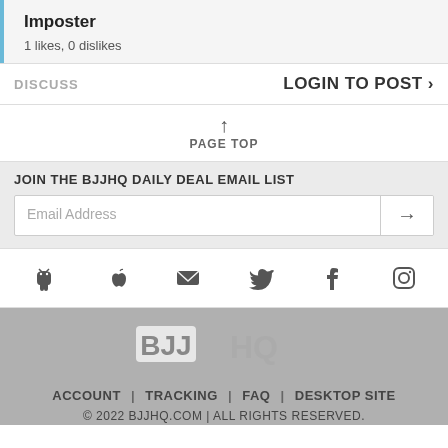Imposter
1 likes, 0 dislikes
DISCUSS
LOGIN TO POST >
PAGE TOP
JOIN THE BJJHQ DAILY DEAL EMAIL LIST
Email Address
[Figure (infographic): Social media icons: Android, Apple, Email, Twitter, Facebook, Instagram]
[Figure (logo): BJJHQ logo in gray]
ACCOUNT | TRACKING | FAQ | DESKTOP SITE
© 2022 BJJHQ.COM | ALL RIGHTS RESERVED.